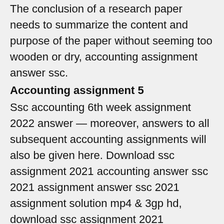The conclusion of a research paper needs to summarize the content and purpose of the paper without seeming too wooden or dry, accounting assignment answer ssc.
Accounting assignment 5
Ssc accounting 6th week assignment 2022 answer — moreover, answers to all subsequent accounting assignments will also be given here. Download ssc assignment 2021 accounting answer ssc 2021 assignment answer ssc 2021 assignment solution mp4 & 3gp hd, download ssc assignment 2021 accounting. In today's , we will discuss the simple and accurate answers of the newly published commerce department accounting assignment for the 3rd week 2021 ssc. Class 12th history half yearly paper
12
, class 12th history half. There are various